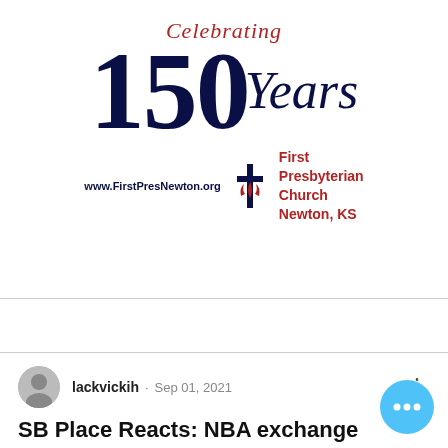[Figure (logo): Celebrating 150 Years — First Presbyterian Church Newton, KS logo with church icon and website www.FirstPresNewton.org]
[Figure (screenshot): Mobile app UI showing navigation bar with back arrow, 'Post' title, and search icon]
lackvickih · Sep 01, 2021
SB Place Reacts: NBA exchange period